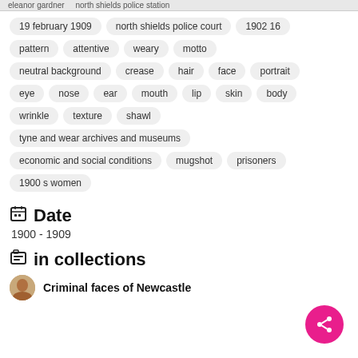eleanor gardner   north shields police station
19 february 1909
north shields police court
1902 16
pattern
attentive
weary
motto
neutral background
crease
hair
face
portrait
eye
nose
ear
mouth
lip
skin
body
wrinkle
texture
shawl
tyne and wear archives and museums
economic and social conditions
mugshot
prisoners
1900 s women
Date
1900 - 1909
in collections
Criminal faces of Newcastle